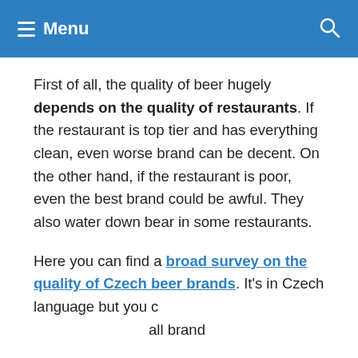Menu
First of all, the quality of beer hugely depends on the quality of restaurants. If the restaurant is top tier and has everything clean, even worse brand can be decent. On the other hand, if the restaurant is poor, even the best brand could be awful. They also water down bear in some restaurants.
Here you can find a broad survey on the quality of Czech beer brands. It's in Czech language but you can read the name and average rating of all brands and see which beers are preferred by Czech drinkers.
[Figure (screenshot): Sponsored advertisement overlay showing a laptop keyboard photo with text 'boston consulting group (bcg) Public Accounting -' and source 'jobble.com']